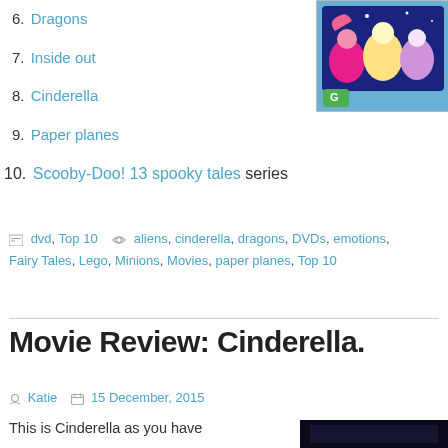6. Dragons
7. Inside out
8. Cinderella
9. Paper planes
10. Scooby-Doo! 13 spooky tales series
[Figure (photo): My Little Pony animated characters on a screen with G rating badge]
dvd, Top 10   aliens, cinderella, dragons, DVDs, emotions, Fairy Tales, Lego, Minions, Movies, paper planes, Top 10
Movie Review: Cinderella.
Katie   15 December, 2015
This is Cinderella as you have
[Figure (photo): Dark movie still image]